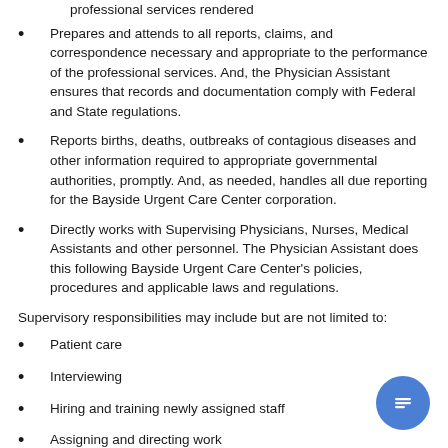professional services rendered
Prepares and attends to all reports, claims, and correspondence necessary and appropriate to the performance of the professional services. And, the Physician Assistant ensures that records and documentation comply with Federal and State regulations.
Reports births, deaths, outbreaks of contagious diseases and other information required to appropriate governmental authorities, promptly. And, as needed, handles all due reporting for the Bayside Urgent Care Center corporation.
Directly works with Supervising Physicians, Nurses, Medical Assistants and other personnel. The Physician Assistant does this following Bayside Urgent Care Center's policies, procedures and applicable laws and regulations.
Supervisory responsibilities may include but are not limited to:
Patient care
Interviewing
Hiring and training newly assigned staff
Assigning and directing work